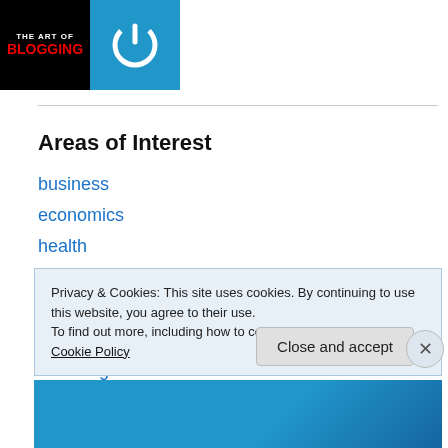[Figure (logo): The Art of Blogging logo: black background with white 'THE ART OF' text and red 'BLOGGING' text, followed by blue square with white power button icon]
Areas of Interest
business
economics
health
History
Humor
immigration
investing
Privacy & Cookies: This site uses cookies. By continuing to use this website, you agree to their use.
To find out more, including how to control cookies, see here: Cookie Policy
Close and accept